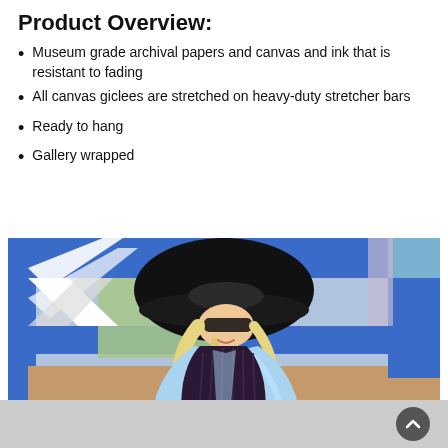Product Overview:
Museum grade archival papers and canvas and ink that is resistant to fading
All canvas giclees are stretched on heavy-duty stretcher bars
Ready to hang
Gallery wrapped
[Figure (illustration): Painting of a woman with long blonde hair wearing a large black wide-brimmed hat, a dark purple/black vest, and a light blue top, standing in front of a colorful geometric background with blue, white, green, and tan/brown shapes.]